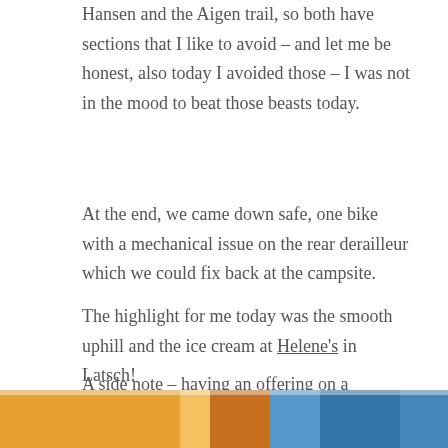I had my two bike most memorable crashes on the Peter Hansen and the Aigen trail, so both have sections that I like to avoid – and let me be honest, also today I avoided those – I was not in the mood to beat those beasts today.
At the end, we came down safe, one bike with a mechanical issue on the rear derailleur which we could fix back at the campsite.
The highlight for me today was the smooth uphill and the ice cream at Helene's in Latsch!
A side note – having an offering on a campsite with a super slow WLAN is worse than having none #speedisgod #VogelsanggetyourWiFigoingfaster.
[Figure (photo): Partial view of a photo at the bottom of the page, showing colorful objects (appears to be bicycle-related), cropped at the page edge.]